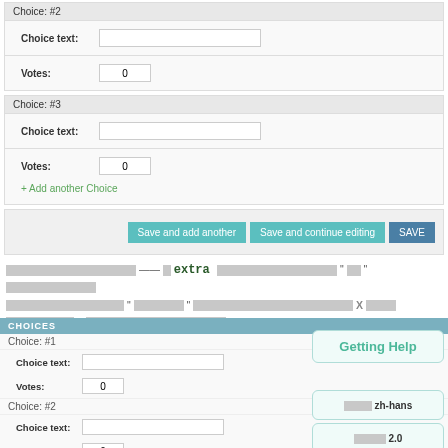Choice: #2
Choice text: [input field]
Votes: 0
Choice: #3
Choice text: [input field]
Votes: 0
+ Add another Choice
Save and add another | Save and continue editing | SAVE
[redacted] -- extra [redacted] "[redacted]" [redacted]
[redacted] "[redacted]" [redacted] X [redacted] 3 [redacted]
CHOICES
Choice: #1
Choice text:
Votes: 0
Choice: #2
Choice text:
Votes: 0
Choice: #3
Getting Help
语言 zh-hans
版本 2.0